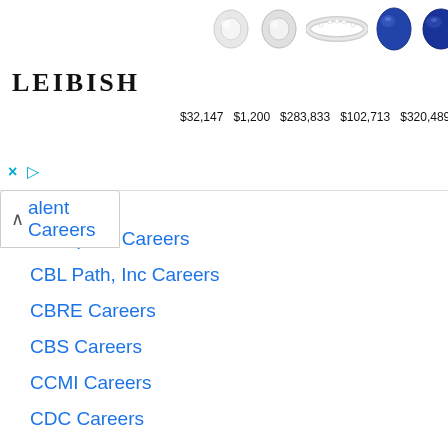[Figure (screenshot): Leibish jewelry advertisement banner showing gemstones (diamonds, sapphires, ruby) and prices: $32,147, $1,200, $283,833, $102,713, $320,489]
talent Careers
Caterpillar Careers
CBL Path, Inc Careers
CBRE Careers
CBS Careers
CCMI Careers
CDC Careers
CDK Global Careers
CDW Careers
Cedars Sinai Careers
Celestica Careers